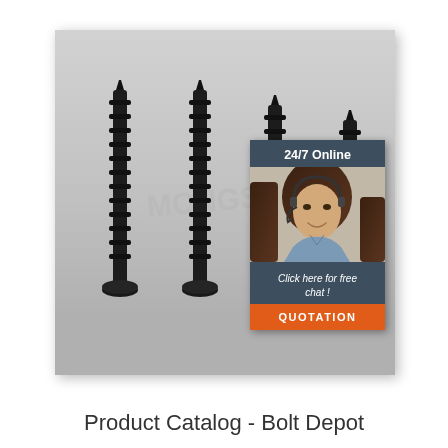[Figure (photo): Four black drywall/wood screws standing upright on a light gray surface, with a watermark 'MONGS...' visible. An overlay widget in the top-right shows a customer service representative with headset, text '24/7 Online', 'Click here for free chat!', and an orange 'QUOTATION' button.]
Product Catalog - Bolt Depot